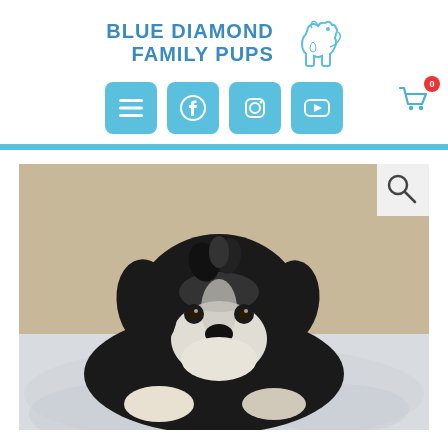[Figure (logo): Blue Diamond Family Pups logo with text and dog silhouette illustration in blue]
[Figure (screenshot): Navigation bar with menu, Facebook, Instagram, YouTube icons in light blue rounded square buttons, and a shopping cart icon with badge showing 0]
[Figure (photo): A fluffy black and white bernedoodle puppy with a pink tongue lying on a fuzzy light gray blanket, looking at the camera]